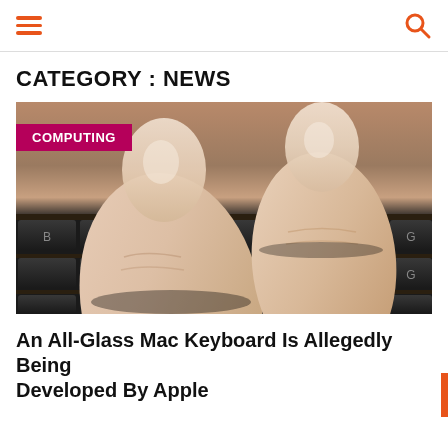CATEGORY : NEWS
[Figure (photo): Close-up photo of two fingers pressing keys on a dark laptop keyboard (Mac style), showing fingernails and keyboard keys including C, V, G keys visible. Badge overlay reads COMPUTING in white on magenta background.]
An All-Glass Mac Keyboard Is Allegedly Being Developed By Apple